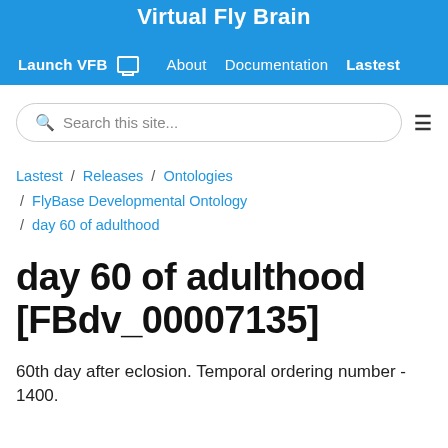Virtual Fly Brain
Launch VFB  About  Documentation  Lastest
Search this site...
Lastest / Releases / Ontologies / FlyBase Developmental Ontology / day 60 of adulthood
day 60 of adulthood [FBdv_00007135]
60th day after eclosion. Temporal ordering number - 1400.